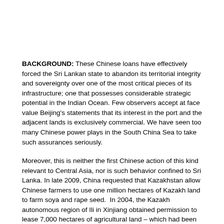BACKGROUND: These Chinese loans have effectively forced the Sri Lankan state to abandon its territorial integrity and sovereignty over one of the most critical pieces of its infrastructure; one that possesses considerable strategic potential in the Indian Ocean. Few observers accept at face value Beijing's statements that its interest in the port and the adjacent lands is exclusively commercial. We have seen too many Chinese power plays in the South China Sea to take such assurances seriously.
Moreover, this is neither the first Chinese action of this kind relevant to Central Asia, nor is such behavior confined to Sri Lanka. In late 2009, China requested that Kazakhstan allow Chinese farmers to use one million hectares of Kazakh land to farm soya and rape seed. In 2004, the Kazakh autonomous region of Ili in Xinjiang obtained permission to lease 7,000 hectares of agricultural land – which had been abandoned since the 1990s – for ten years from the governor of the Kazakhstan border district, Lake Alakol. The roughly 3,000 Chinese renters now grow soya beans and wheat on the land. This transaction provoked scathing attacks in Kazakh media against the government, apparently out of concern that the country was being carved up at Beijing's behest. Similarly in Kyrgyzstan, in 1999, more than 90,000 hectares of the Uzengi-Kuush region were ceded to China